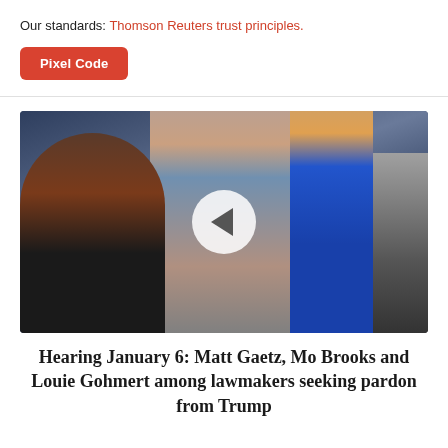Our standards: Thomson Reuters trust principles.
Pixel Code
[Figure (photo): Photo of lawmakers seated, including a woman in a black polka-dot dress on the left, a man in a blue suit and patterned tie in the center, and a woman in a blue sleeveless top on the right, with a video play button overlay in the center of the image.]
Hearing January 6: Matt Gaetz, Mo Brooks and Louie Gohmert among lawmakers seeking pardon from Trump